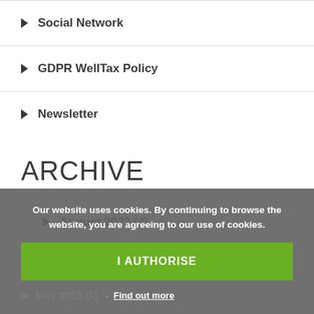▶ Social Network
▶ GDPR WellTax Policy
▶ Newsletter
ARCHIVE
▶ August 2022 (4)
Our website uses cookies. By continuing to browse the website, you are agreeing to our use of cookies.
I AUTHORISE
- Find out more
▶ May 2022 (1)